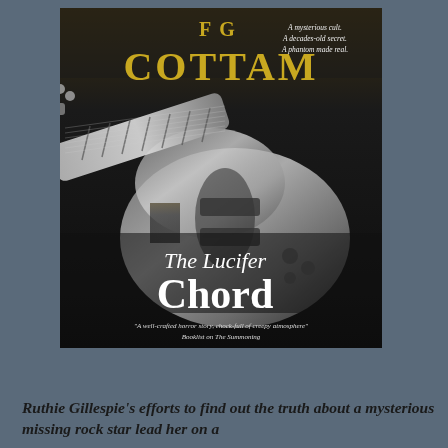[Figure (illustration): Book cover for 'The Lucifer Chord' by FG Cottam. Dark background with a black and white electric guitar. Author name 'FG COTTAM' in gold letters at the top. Taglines: 'A mysterious cult. A decades-old secret. A phantom made real.' Book title 'The Lucifer Chord' in large white serif font. Quote at the bottom: 'A well-crafted horror story, chock-full of creepy atmosphere' Booklist on The Summoning.]
Ruthie Gillespie's efforts to find out the truth about a mysterious missing rock star lead her on a